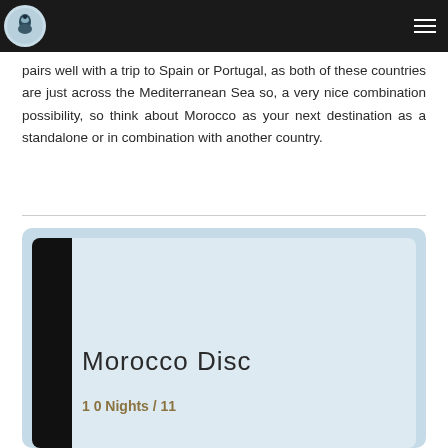pairs well with a trip to Spain or Portugal, as both of these countries are just across the Mediterranean Sea so, a very nice combination possibility, so think about Morocco as your next destination as a standalone or in combination with another country.
[Figure (other): Partial view of a travel card/brochure for Morocco Discovery tour showing title 'Morocco Disc...' and '10 Nights / 11...' with a light blue card design and black image panel on left]
Morocco Disc
10 Nights / 11